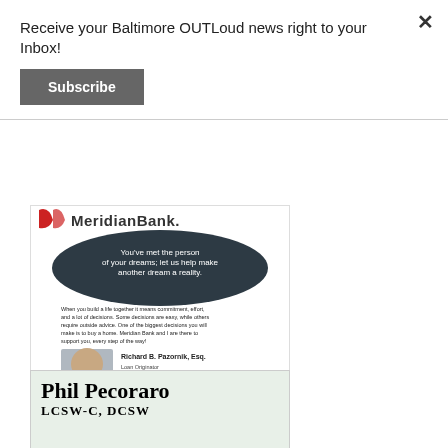Receive your Baltimore OUTLoud news right to your Inbox!
Subscribe
[Figure (illustration): MeridianBank advertisement featuring an oval banner reading 'You've met the person of your dreams; let us help make another dream a reality.' with body text about home buying, a photo of Richard B. Pazornik Esq., contact details, and a red bar with the URL www.meridianbanker.com/rpazornik]
[Figure (illustration): Bottom portion of Phil Pecoraro LCSW-C, DCSW advertisement on a light green/beige background]